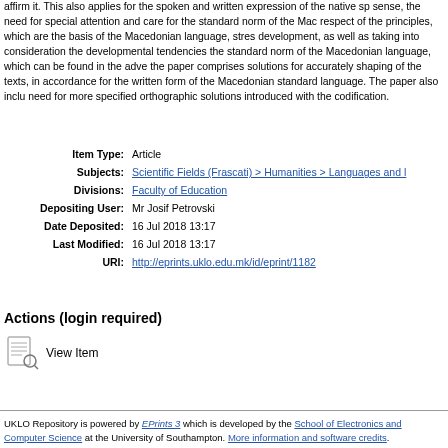affirm it. This also applies for the spoken and written expression of the native sp sense, the need for special attention and care for the standard norm of the Mac respect of the principles, which are the basis of the Macedonian language, stres development, as well as taking into consideration the developmental tendencies the standard norm of the Macedonian language, which can be found in the adve the paper comprises solutions for accurately shaping of the texts, in accordance for the written form of the Macedonian standard language. The paper also inclu need for more specified orthographic solutions introduced with the codification.
| Item Type: | Article |
| Subjects: | Scientific Fields (Frascati) > Humanities > Languages and ... |
| Divisions: | Faculty of Education |
| Depositing User: | Mr Josif Petrovski |
| Date Deposited: | 16 Jul 2018 13:17 |
| Last Modified: | 16 Jul 2018 13:17 |
| URI: | http://eprints.uklo.edu.mk/id/eprint/1182 |
Actions (login required)
View Item
UKLO Repository is powered by EPrints 3 which is developed by the School of Electronics and Computer Science at the University of Southampton. More information and software credits.